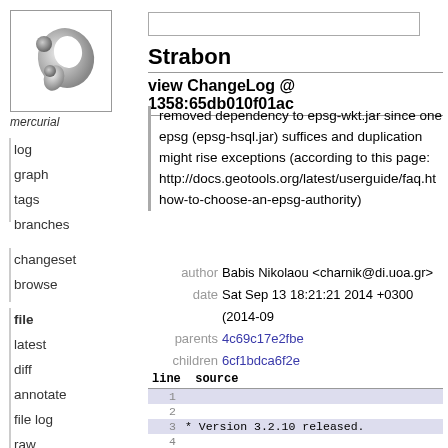[Figure (logo): Mercurial logo - grey comma/yin-yang style graphic with 'mercurial' text below]
log
graph
tags
branches
changeset
browse
file
latest
diff
annotate
file log
raw
Strabon
view ChangeLog @ 1358:65db010f01ac
removed dependency to epsg-wkt.jar since one epsg (epsg-hsql.jar) suffices and duplication might rise exceptions (according to this page: http://docs.geotools.org/latest/userguide/faq.ht how-to-choose-an-epsg-authority)
author Babis Nikolaou <charnik@di.uoa.gr>
date Sat Sep 13 18:21:21 2014 +0300 (2014-09
parents 4c69c17e2fbe
children 6cf1bdca6f2e
| line | source |
| --- | --- |
| 1 |  |
| 2 |  |
| 3 | * Version 3.2.10 released. |
| 4 |  |
| 5 | * Strabon goes debian v1. the endp |
| 6 | format. By dpkg-ing it, one |